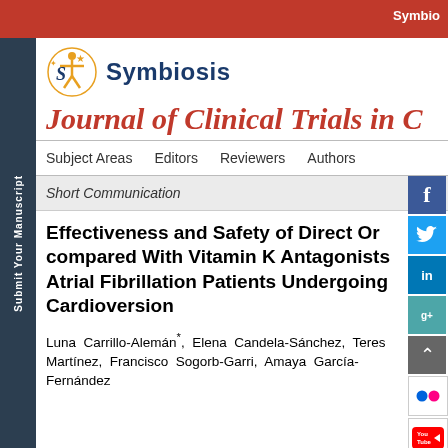Symbiosis
[Figure (logo): Symbiosis journal logo with decorative icon and text]
Journal of Clinical Trials in C...
Subject Areas   Editors   Reviewers   Authors
Short Communication
Effectiveness and Safety of Direct Oral Anticoagulants Compared With Vitamin K Antagonists in Atrial Fibrillation Patients Undergoing Cardioversion
Luna Carrillo-Alemán*, Elena Candela-Sánchez, Teresa... Martínez, Francisco Sogorb-Garri, Amaya García-Fernández...